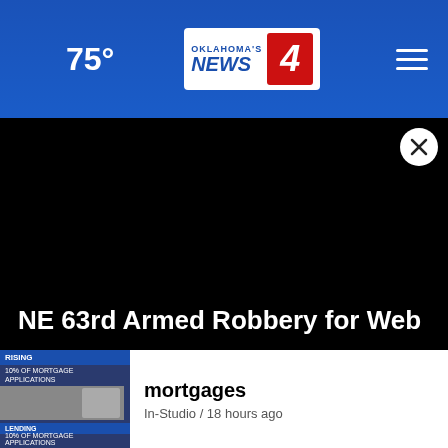Oklahoma's News 4 — 75°
[Figure (screenshot): Black video player area for 'NE 63rd Armed Robbery for Web' news segment]
NE 63rd Armed Robbery for Web
[Figure (screenshot): Thumbnail image showing mortgage applications documents]
mortgages
In-Studio / 18 hours ago